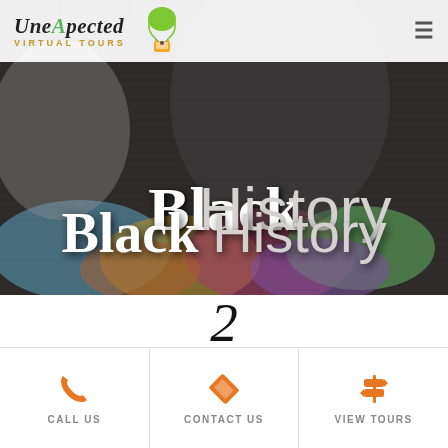UNEXPECTED VIRTUAL TOURS
[Figure (screenshot): Hero banner image showing graffiti art on a brick wall with colorful street art at the bottom. Large text reads 'Black History' overlaid on the image.]
Black History
2
CALL US | CONTACT US | VIEW TOURS